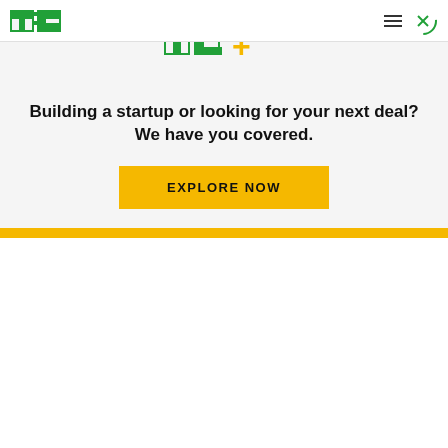[Figure (logo): TechCrunch TC logo in green in top navigation bar]
[Figure (logo): TC+ logo with green TC letters and orange plus sign]
Building a startup or looking for your next deal? We have you covered.
EXPLORE NOW